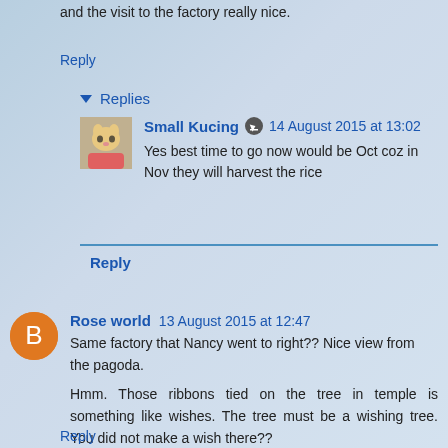and the visit to the factory really nice.
Reply
Replies
Small Kucing  14 August 2015 at 13:02
Yes best time to go now would be Oct coz in Nov they will harvest the rice
Reply
Rose world  13 August 2015 at 12:47
Same factory that Nancy went to right?? Nice view from the pagoda.
Hmm. Those ribbons tied on the tree in temple is something like wishes. The tree must be a wishing tree. You did not make a wish there??
Reply